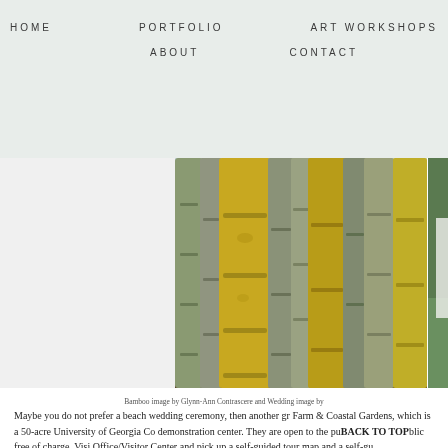HOME   PORTFOLIO   ART WORKSHOPS   ABOUT   CONTACT
[Figure (photo): Close-up photo of yellow-green bamboo stalks/trunks in a grove, taken from low angle looking up, with brown leaf litter on ground and greenery in background]
[Figure (photo): Partial photo of a wedding scene showing a person in a white wedding veil/dress with green grass and trees in background]
Bamboo image by Glynn-Ann Contrascere and Wedding image by
Maybe you do not prefer a beach wedding ceremony, then another gr Farm & Coastal Gardens, which is a 50-acre University of Georgia Co demonstration center. They are open to the public free of charge. Visi Office/Visitor Center and pick up a self-guided tour map and a self-gu